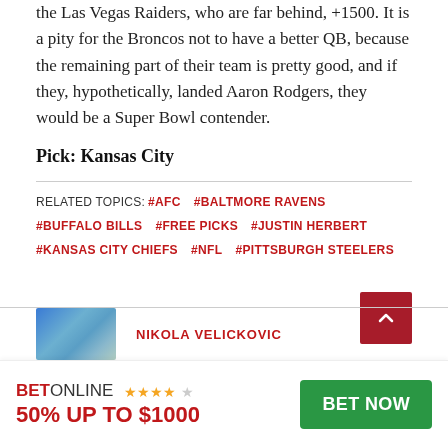the Las Vegas Raiders, who are far behind, +1500. It is a pity for the Broncos not to have a better QB, because the remaining part of their team is pretty good, and if they, hypothetically, landed Aaron Rodgers, they would be a Super Bowl contender.
Pick: Kansas City
RELATED TOPICS: #AFC  #BALTMORE RAVENS  #BUFFALO BILLS  #FREE PICKS  #JUSTIN HERBERT  #KANSAS CITY CHIEFS  #NFL  #PITTSBURGH STEELERS
NIKOLA VELICKOVIC
BETONLINE ★★★★☆  50% UP TO $1000  BET NOW